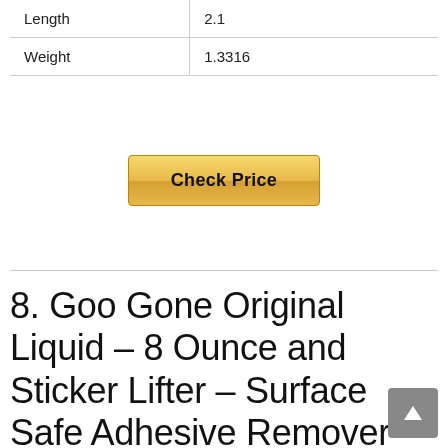|  |  |
| --- | --- |
| Length | 2.1 |
| Weight | 1.3316 |
Check Price
8. Goo Gone Original Liquid – 8 Ounce and Sticker Lifter – Surface Safe Adhesive Remover Safely Removes Stickers Labels Decals Residue Tape Chewing Gum